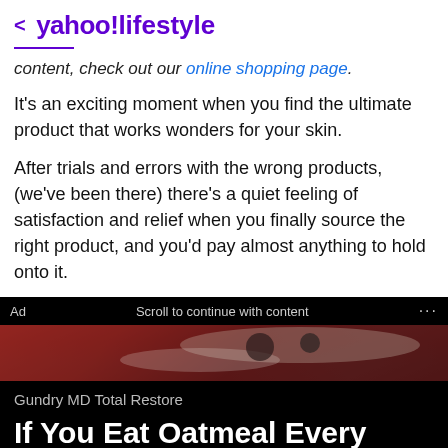< yahoo!lifestyle
content, check out our online shopping page.
It's an exciting moment when you find the ultimate product that works wonders for your skin.
After trials and errors with the wrong products, (we've been there) there's a quiet feeling of satisfaction and relief when you finally source the right product, and you'd pay almost anything to hold onto it.
[Figure (screenshot): Ad banner with black background showing food image, text 'Gundry MD Total Restore' and headline 'If You Eat Oatmeal Every Day, This Is What']
Scroll to continue with content
Gundry MD Total Restore
If You Eat Oatmeal Every Day, This Is What